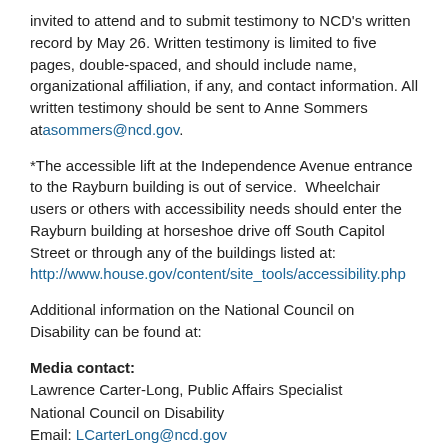invited to attend and to submit testimony to NCD's written record by May 26. Written testimony is limited to five pages, double-spaced, and should include name, organizational affiliation, if any, and contact information. All written testimony should be sent to Anne Sommers at asommers@ncd.gov.
*The accessible lift at the Independence Avenue entrance to the Rayburn building is out of service. Wheelchair users or others with accessibility needs should enter the Rayburn building at horseshoe drive off South Capitol Street or through any of the buildings listed at: http://www.house.gov/content/site_tools/accessibility.php
Additional information on the National Council on Disability can be found at:
Media contact: Lawrence Carter-Long, Public Affairs Specialist National Council on Disability Email: LCarterLong@ncd.gov Phone: 202-272-2004 (voice); 202-272-2074 (TTY) 202-603-9209 (cell)